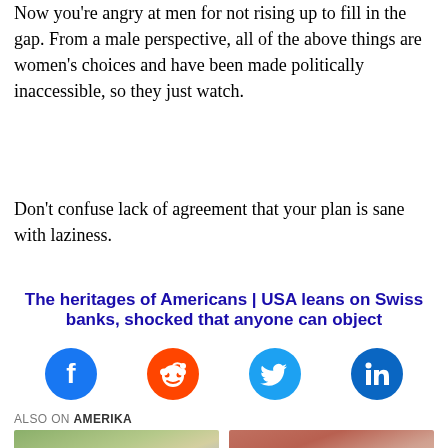Now you're angry at men for not rising up to fill in the gap. From a male perspective, all of the above things are women's choices and have been made politically inaccessible, so they just watch.
Don't confuse lack of agreement that your plan is sane with laziness.
The heritages of Americans | USA leans on Swiss banks, shocked that anyone can object
[Figure (other): Social sharing icons: Facebook, Reddit, Twitter, LinkedIn]
ALSO ON AMERIKA
[Figure (photo): Two thumbnail images for related articles on Amerika]